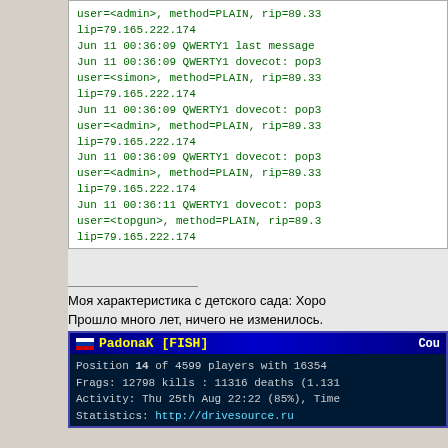user=<admin>, method=PLAIN, rip=89.33...
lip=79.165.222.174
Jun 11 00:36:09 QWERTY1 last message...
Jun 11 00:36:09 QWERTY1 dovecot: pop3...
user=<simon>, method=PLAIN, rip=89.33...
lip=79.165.222.174
Jun 11 00:36:09 QWERTY1 dovecot: pop3...
user=<admin>, method=PLAIN, rip=89.33...
lip=79.165.222.174
Jun 11 00:36:09 QWERTY1 dovecot: pop3...
user=<admin>, method=PLAIN, rip=89.33...
lip=79.165.222.174
Jun 11 00:36:11 QWERTY1 dovecot: pop3...
user=<topgun>, method=PLAIN, rip=89.3...
lip=79.165.222.174
Моя характеристика с детского сада: Хоро...
Прошло много лет, ничего не изменилось.
[Figure (screenshot): Game statistics banner for PadonaK [FISH] showing position 14 of 4599 players with 16354 points, Frags: 12798 kills: 11316 deaths (1.131...), Activity: Thu 25th Aug 22:22 (85%), Time..., Statistics: http://drivesource.ru]